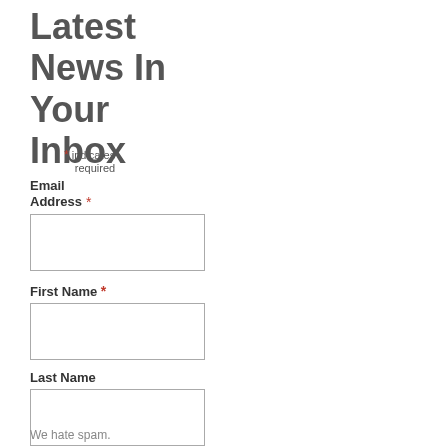Latest News In Your Inbox
* indicates required
Email Address *
First Name *
Last Name
Sign Me Up!
We hate spam.